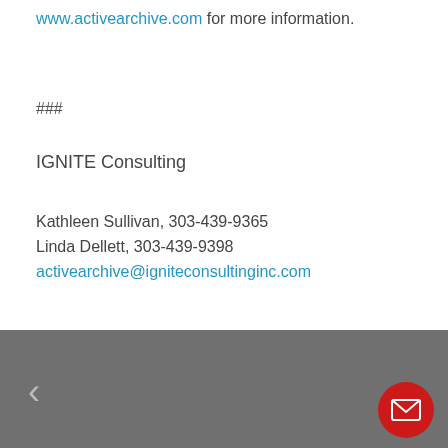www.activearchive.com for more information.
###
IGNITE Consulting
Kathleen Sullivan, 303-439-9365
Linda Dellett, 303-439-9398
activearchive@igniteconsultinginc.com
Navigation footer with left/right arrows and email button